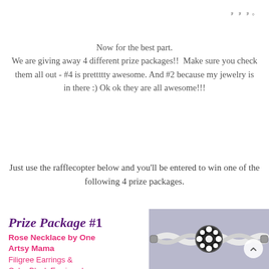www°
Now for the best part.
We are giving away 4 different prize packages!!  Make sure you check them all out - #4 is prettttty awesome. And #2 because my jewelry is in there :) Ok ok they are all awesome!!!
Just use the rafflecopter below and you'll be entered to win one of the following 4 prize packages.
Prize Package #1
Rose Necklace by One Artsy Mama
Filigree Earrings & Color Block Earrings by Happy Go Lucky
[Figure (photo): A white braided bracelet with a round black and white floral medallion charm on a lavender/grey background]